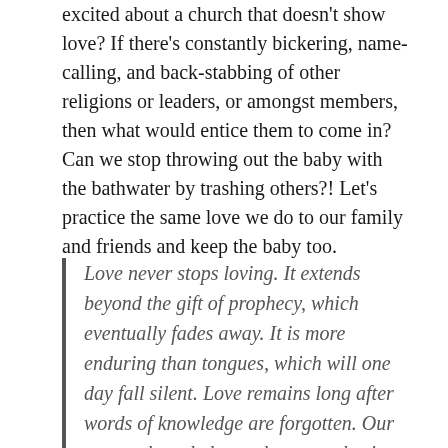excited about a church that doesn't show love? If there's constantly bickering, name-calling, and back-stabbing of other religions or leaders, or amongst members, then what would entice them to come in? Can we stop throwing out the baby with the bathwater by trashing others?! Let's practice the same love we do to our family and friends and keep the baby too.
Love never stops loving. It extends beyond the gift of prophecy, which eventually fades away. It is more enduring than tongues, which will one day fall silent. Love remains long after words of knowledge are forgotten. Our present knowledge and our prophecies are but